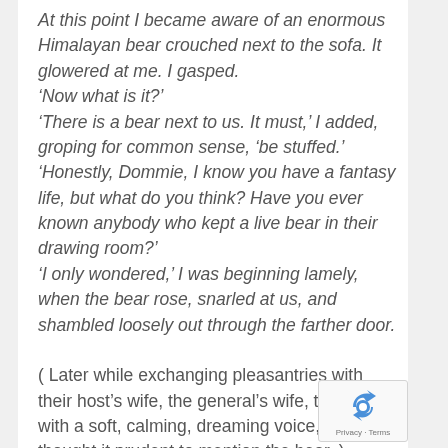At this point I became aware of an enormous Himalayan bear crouched next to the sofa. It glowered at me. I gasped.
'Now what is it?'
'There is a bear next to us. It must,' I added, groping for common sense, 'be stuffed.'
'Honestly, Dommie, I know you have a fantasy life, but what do you think? Have you ever known anybody who kept a live bear in their drawing room?'
'I only wondered,' I was beginning lamely, when the bear rose, snarled at us, and shambled loosely out through the farther door.

( Later while exchanging pleasantries with their host's wife, the general's wife, the Rani with a soft, calming, dreaming voice, Moraes thought it prudent to mention the bear. )
[Figure (logo): Google reCAPTCHA badge with circular arrow icon and Privacy · Terms text]